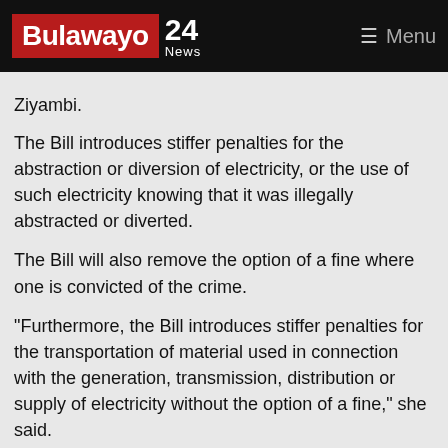Bulawayo 24 News | Menu
Ziyambi.
The Bill introduces stiffer penalties for the abstraction or diversion of electricity, or the use of such electricity knowing that it was illegally abstracted or diverted.
The Bill will also remove the option of a fine where one is convicted of the crime.
"Furthermore, the Bill introduces stiffer penalties for the transportation of material used in connection with the generation, transmission, distribution or supply of electricity without the option of a fine," she said.
"Zesa is suffering huge losses due to theft and vandalism of the national electricity infrastructure. In 2021, Zesa recorded 1 237 cases of theft and vandalism, resulting in huge losses of revenue, which could be used to cater for the development...